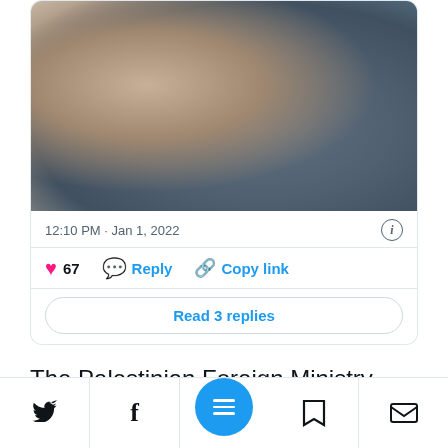[Figure (photo): Close-up photo of a bearded man sleeping on a white pillow with a blue/grey textured blanket or animal fur nearby]
12:10 PM · Jan 1, 2022
67  Reply  Copy link
Read 3 replies
The Palestinian Foreign Ministry, meanwhile, said they are closely monitoring the situation